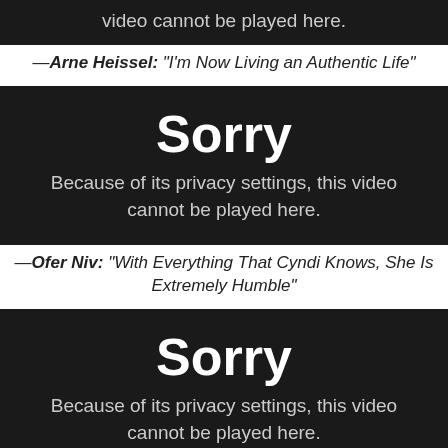[Figure (screenshot): Black video placeholder block showing 'video cannot be played here.' text at top of page (partial, cropped)]
—Arne Heissel: "I'm Now Living an Authentic Life"
[Figure (screenshot): Black video placeholder block with 'Sorry' heading and 'Because of its privacy settings, this video cannot be played here.' text]
—Ofer Niv: "With Everything That Cyndi Knows, She Is Extremely Humble"
[Figure (screenshot): Black video placeholder block with 'Sorry' heading and 'Because of its privacy settings, this video cannot be played here.' text (partial, cropped at bottom)]